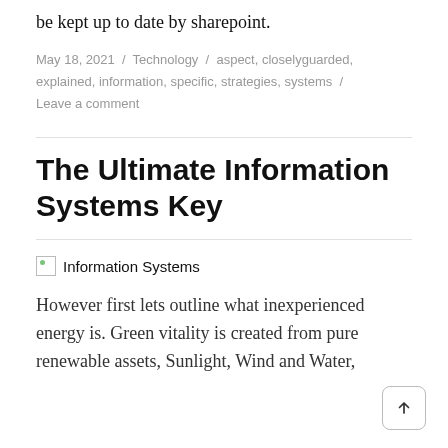be kept up to date by sharepoint.
May 18, 2021 / Technology / aspect, closelyguarded, explained, information, specific, strategies, systems / Leave a comment
The Ultimate Information Systems Key
[Figure (photo): Broken image placeholder with alt text 'Information Systems']
However first lets outline what inexperienced energy is. Green vitality is created from pure renewable assets, Sunlight, Wind and Water,